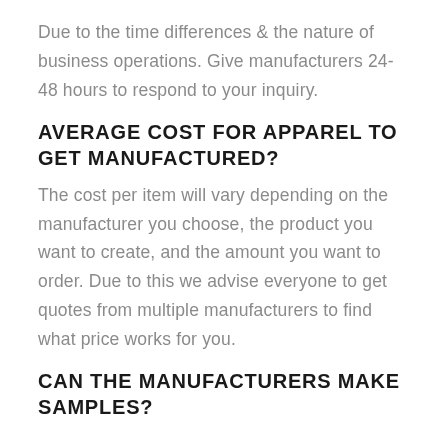Due to the time differences & the nature of business operations. Give manufacturers 24-48 hours to respond to your inquiry.
AVERAGE COST FOR APPAREL TO GET MANUFACTURED?
The cost per item will vary depending on the manufacturer you choose, the product you want to create, and the amount you want to order. Due to this we advise everyone to get quotes from multiple manufacturers to find what price works for you.
CAN THE MANUFACTURERS MAKE SAMPLES?